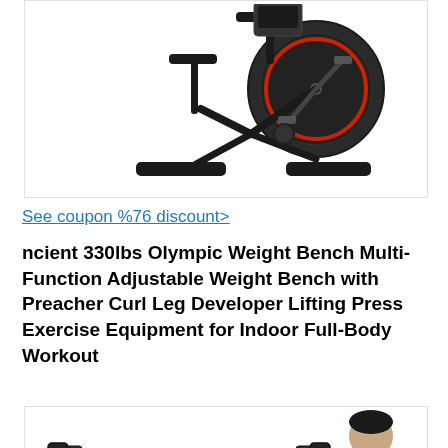[Figure (photo): Photo of a black indoor spinning exercise bike with red accent wheel detail, shown on a white background.]
See coupon %76 discount>
ncient 330lbs Olympic Weight Bench Multi-Function Adjustable Weight Bench with Preacher Curl Leg Developer Lifting Press Exercise Equipment for Indoor Full-Body Workout
[Figure (photo): Photo of Olympic barbell weights on a rack with a man visible on the right side, shown on a white background.]